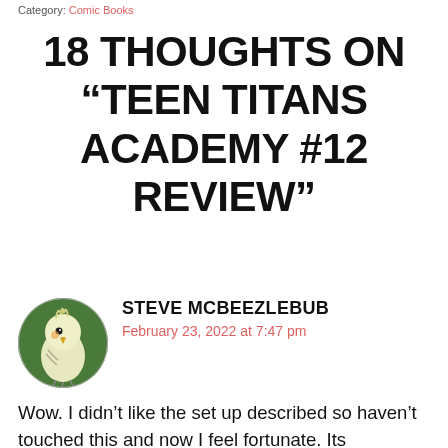Category: Comic Books
18 THOUGHTS ON “TEEN TITANS ACADEMY #12 REVIEW”
[Figure (illustration): Circular avatar image of a cartoon cockatiel bird with yellow and white feathers on a green background]
STEVE MCBEEZLEBUB
February 23, 2022 at 7:47 pm
Wow. I didn’t like the set up described so haven’t touched this and now I feel fortunate. Its cancellation does mean no more contradictions about who Dick’s gal pal is tho’. My head canon will put it before Taylor’s Nightwing. It already